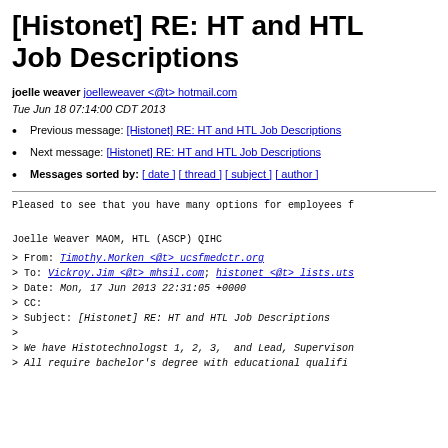[Histonet] RE: HT and HTL Job Descriptions
joelle weaver joelleweaver <@t> hotmail.com
Tue Jun 18 07:14:00 CDT 2013
Previous message: [Histonet] RE: HT and HTL Job Descriptions
Next message: [Histonet] RE: HT and HTL Job Descriptions
Messages sorted by: [ date ] [ thread ] [ subject ] [ author ]
Pleased to see that you have many options for employees f
Joelle Weaver MAOM, HTL (ASCP) QIHC
> From: Timothy.Morken <@t> ucsfmedctr.org
> To: Vickroy.Jim <@t> mhsil.com; histonet <@t> lists.uts
> Date: Mon, 17 Jun 2013 22:31:05 +0000
> CC:
> Subject: [Histonet] RE: HT and HTL Job Descriptions
>
> We have Histotechnologst 1, 2, 3,  and Lead, Supervisor
> All require bachelor's degree with educational qualifi